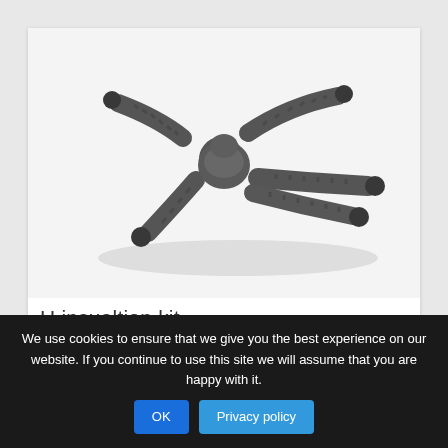[Figure (photo): 3D rendered image of an H insulation kit — a dark grey rubber/silicone hose connector with multiple ribbed tube ends branching in different directions, resembling an H or cross/T shape, on a white background.]
H insualtion kit
VIEW FULL INFO & 0 DOWNLOADS
We use cookies to ensure that we give you the best experience on our website. If you continue to use this site we will assume that you are happy with it.
OK
Privacy policy